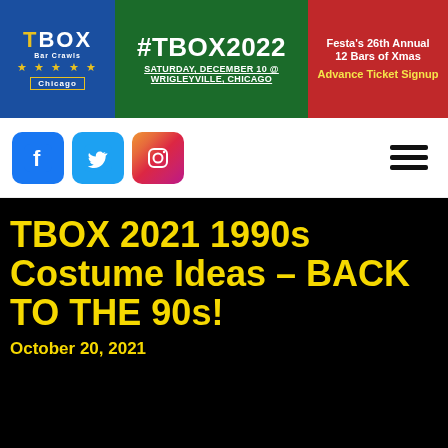TBOX Bar Crawls Chicago | #TBOX2022 SATURDAY, DECEMBER 10 @ WRIGLEYVILLE, CHICAGO | Festa's 26th Annual 12 Bars of Xmas Advance Ticket Signup
[Figure (screenshot): Social media icons: Facebook, Twitter, Instagram, and hamburger menu]
TBOX 2021 1990s Costume Ideas – BACK TO THE 90s!
October 20, 2021
TBOX 2021 is going BACK TO THE 90s!!!
December 11, 2021 in Wrigleyville, Chicago will be our 25th Anniversary of TBOX – Festa's ORIGINAL Twelve Bars of